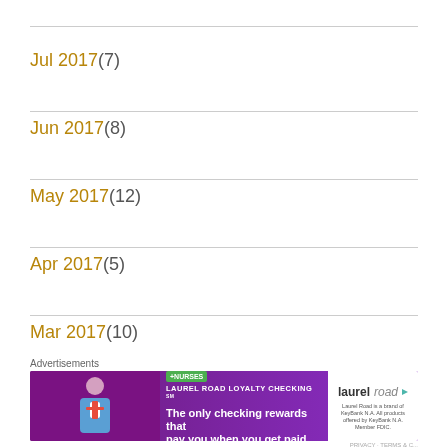Jul 2017 (7)
Jun 2017 (8)
May 2017 (12)
Apr 2017 (5)
Mar 2017 (10)
Feb 2017 (7)
Advertisements
[Figure (other): Laurel Road Loyalty Checking advertisement banner — '+NURSES LAUREL ROAD LOYALTY CHECKING SM | The only checking rewards that pay you when you get paid.' with laurel road logo on right side]